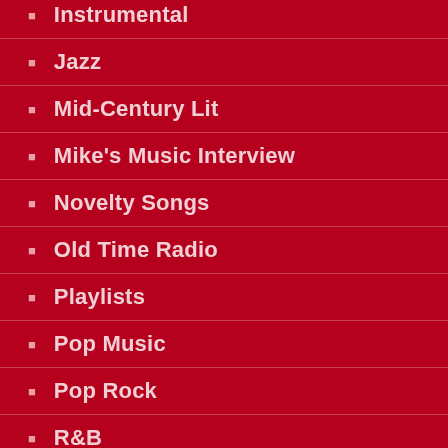Instrumental
Jazz
Mid-Century Lit
Mike's Music Interview
Novelty Songs
Old Time Radio
Playlists
Pop Music
Pop Rock
R&B
Recommendations
Recroom